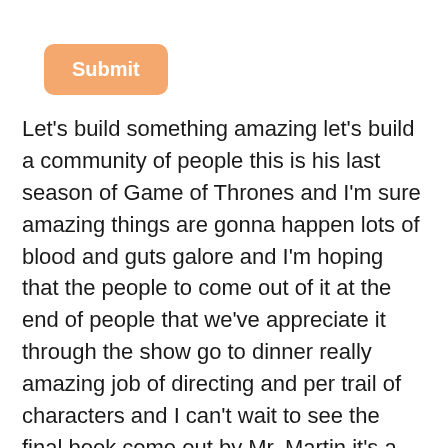[Figure (other): Orange rounded-rectangle button labeled 'Submit']
Let's build something amazing let's build a community of people this is his last season of Game of Thrones and I'm sure amazing things are gonna happen lots of blood and guts galore and I'm hoping that the people to come out of it at the end of people that we've appreciate it through the show go to dinner really amazing job of directing and per trail of characters and I can't wait to see the final book come out by Mr. Martin it's a hard thing to make a show in a series like this without having a complete novel and I think the writers of really tried hard to stay true to the ideals I wish they would've been closer to the book but then we would be waiting much longer